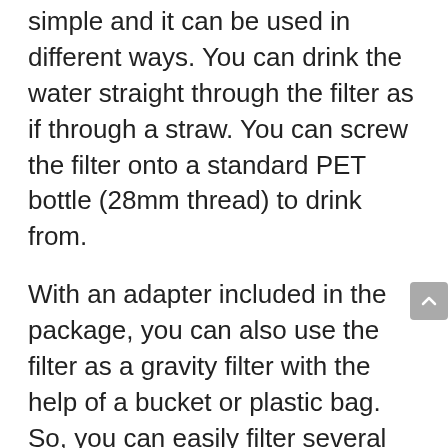simple and it can be used in different ways. You can drink the water straight through the filter as if through a straw. You can screw the filter onto a standard PET bottle (28mm thread) to drink from.
With an adapter included in the package, you can also use the filter as a gravity filter with the help of a bucket or plastic bag. So, you can easily filter several liters for your (emergency) supply.
This inexpensive water filter has a pore size of 0.1 microns. It can thus filter all types of pathogenic bacteria, viruses, and